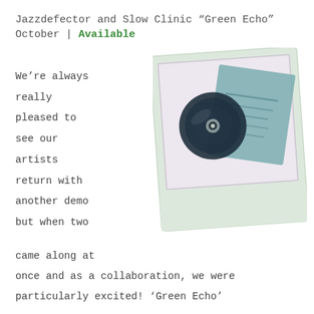Jazzdefector and Slow Clinic “Green Echo” October | Available
[Figure (photo): A polaroid-style photo showing a CD and a blue-green CD case/booklet on a light background, slightly tilted.]
We’re always really pleased to see our artists return with another demo but when two came along at once and as a collaboration, we were particularly excited! ‘Green Echo’